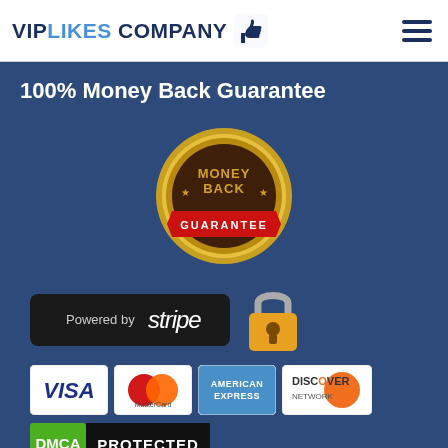[Figure (logo): VIP LIKES COMPANY logo with thumbs up icon and hamburger menu]
100% Money Back Guarantee
[Figure (illustration): Money Back Guarantee badge/seal - circular gold badge with dark brown center reading MONEY BACK * with red ribbon banner reading GUARANTEE]
[Figure (illustration): Powered by stripe dark button badge and gold padlock security icon]
[Figure (illustration): Payment card logos: VISA, MasterCard, American Express, Discover Network]
[Figure (illustration): DMCA PROTECTED badge - green DMCA label with black PROTECTED text]